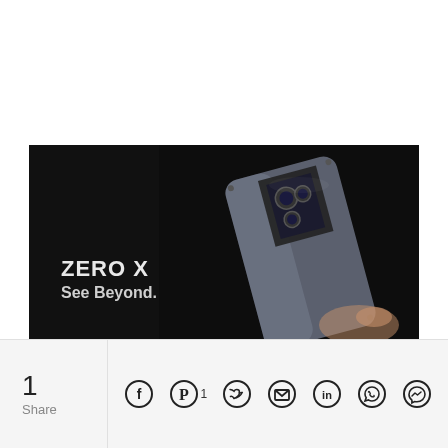[Figure (photo): Dark banner advertisement for Infinix ZERO X smartphone. Black background with a silver/metallic smartphone shown from the back at an angle, highlighting its triangular camera module. White text reads 'ZERO X' and below it 'See Beyond.' in bold.]
1
Share
[Figure (illustration): Share bar with social media icons: Facebook, Pinterest (with count 1), Twitter, Email/Envelope, LinkedIn, WhatsApp, Messenger]